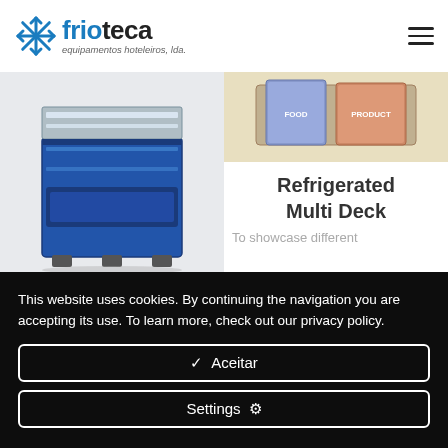[Figure (logo): Frioteca logo with snowflake icon and text 'frioteca equipamentos hoteleiros, lda.']
[Figure (photo): Refrigerated open display unit, blue colored, with multiple shelves]
[Figure (photo): Product packaging image for Refrigerated Multi Deck]
Refrigerated Multi Deck
To showcase different
This website uses cookies. By continuing the navigation you are accepting its use. To learn more, check out our privacy policy.
✓ Aceitar
Settings ⚙